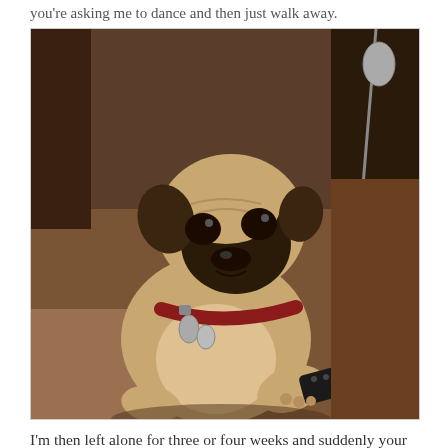you're asking me to dance and then just walk away.
[Figure (photo): A pug dog sitting upright on a couch, wearing a red collar with tags, holding or touching a TV remote, looking up dramatically. Sepia-toned photograph.]
I'm then left alone for three or four weeks and suddenly your name pops up in my inbox with 'an offer especially for me'. By this time, there's a 95% chance I've forgotten who you are and I'll just delete